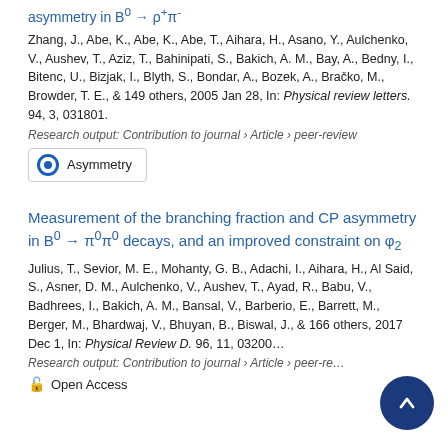asymmetry in B⁰ → ρ⁺π⁻
Zhang, J., Abe, K., Abe, K., Abe, T., Aihara, H., Asano, Y., Aulchenko, V., Aushev, T., Aziz, T., Bahinipati, S., Bakich, A. M., Bay, A., Bedny, I., Bitenc, U., Bizjak, I., Blyth, S., Bondar, A., Bozek, A., Bračko, M., Browder, T. E., & 149 others, 2005 Jan 28, In: Physical review letters. 94, 3, 031801.
Research output: Contribution to journal › Article › peer-review
Asymmetry
Measurement of the branching fraction and CP asymmetry in B⁰ → π⁰π⁰ decays, and an improved constraint on φ₂
Julius, T., Sevior, M. E., Mohanty, G. B., Adachi, I., Aihara, H., Al Said, S., Asner, D. M., Aulchenko, V., Aushev, T., Ayad, R., Babu, V., Badhrees, I., Bakich, A. M., Bansal, V., Barberio, E., Barrett, M., Berger, M., Bhardwaj, V., Bhuyan, B., Biswal, J., & 166 others, 2017 Dec 1, In: Physical Review D. 96, 11, 032005.
Research output: Contribution to journal › Article › peer-review
Open Access